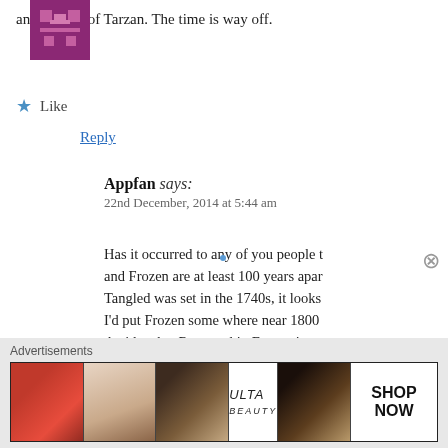and mother of Tarzan. The time is way off.
★ Like
Reply
Appfan says:
22nd December, 2014 at 5:44 am
Has it occurred to any of you people that Tangled and Frozen are at least 100 years apart? If Tangled was set in the 1740s, it looks like to me I'd put Frozen some where near 1800s or so. So the idea that Rapunzel in Frozen is an Easter egg actually intended to connect the films
[Figure (other): Pixel art avatar of Appfan user: purple/pink square character with pixel-art face]
Advertisements
[Figure (other): ULTA beauty advertisement banner showing makeup imagery with SHOP NOW call to action]